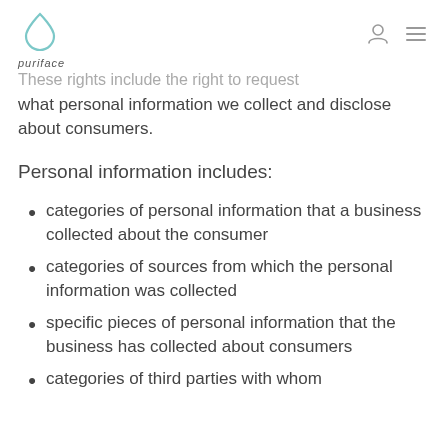puriface
These rights include the right to request what personal information we collect and disclose about consumers.
Personal information includes:
categories of personal information that a business collected about the consumer
categories of sources from which the personal information was collected
specific pieces of personal information that the business has collected about consumers
categories of third parties with whom